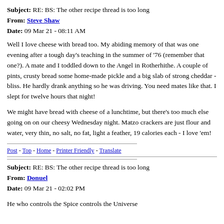Subject: RE: BS: The other recipe thread is too long
From: Steve Shaw
Date: 09 Mar 21 - 08:11 AM
Well I love cheese with bread too. My abiding memory of that was one evening after a tough day's teaching in the summer of '76 (remember that one?). A mate and I toddled down to the Angel in Rotherhithe. A couple of pints, crusty bread some home-made pickle and a big slab of strong cheddar - bliss. He hardly drank anything so he was driving. You need mates like that. I slept for twelve hours that night!
We might have bread with cheese of a lunchtime, but there's too much else going on on our cheesy Wednesday night. Matzo crackers are just flour and water, very thin, no salt, no fat, light a feather, 19 calories each - I love 'em!
Post - Top - Home - Printer Friendly - Translate
Subject: RE: BS: The other recipe thread is too long
From: Donuel
Date: 09 Mar 21 - 02:02 PM
He who controls the Spice controls the Universe